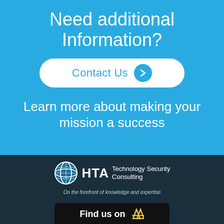Need additional Information?
Contact Us →
Learn more about making your mission a success
[Figure (logo): HTA Technology Security Consulting logo with globe icon and tagline 'On the forefront of knowledge and expertise']
Find us on